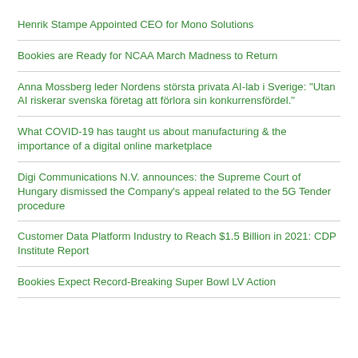Henrik Stampe Appointed CEO for Mono Solutions
Bookies are Ready for NCAA March Madness to Return
Anna Mossberg leder Nordens största privata AI-lab i Sverige: "Utan AI riskerar svenska företag att förlora sin konkurrensfördel."
What COVID-19 has taught us about manufacturing & the importance of a digital online marketplace
Digi Communications N.V. announces: the Supreme Court of Hungary dismissed the Company's appeal related to the 5G Tender procedure
Customer Data Platform Industry to Reach $1.5 Billion in 2021: CDP Institute Report
Bookies Expect Record-Breaking Super Bowl LV Action